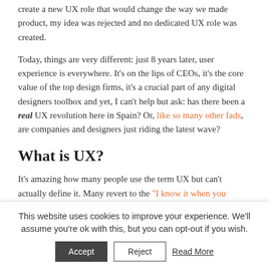create a new UX role that would change the way we made product, my idea was rejected and no dedicated UX role was created.
Today, things are very different: just 8 years later, user experience is everywhere. It's on the lips of CEOs, it's the core value of the top design firms, it's a crucial part of any digital designers toolbox and yet, I can't help but ask: has there been a real UX revolution here in Spain? Or, like so many other fads, are companies and designers just riding the latest wave?
What is UX?
It's amazing how many people use the term UX but can't actually define it. Many revert to the "I know it when you see it" but the UX community expects more and for...
This website uses cookies to improve your experience. We'll assume you're ok with this, but you can opt-out if you wish.